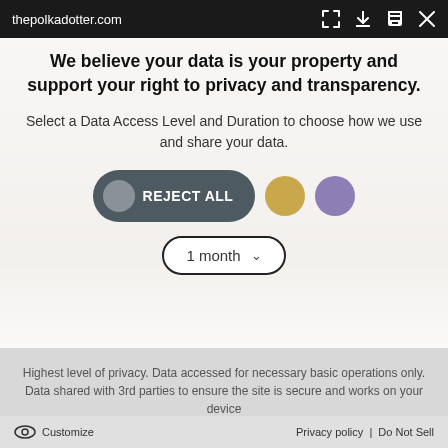thepolkadotter.com
We believe your data is your property and support your right to privacy and transparency.
Select a Data Access Level and Duration to choose how we use and share your data.
[Figure (infographic): Privacy consent UI with REJECT ALL button (dark grey pill with grey circle icon), a gold circle button, a purple circle button, and a '1 month' dropdown selector with chevron.]
Highest level of privacy. Data accessed for necessary basic operations only. Data shared with 3rd parties to ensure the site is secure and works on your device
Save my preferences
Customize   Privacy policy  |  Do Not Sell